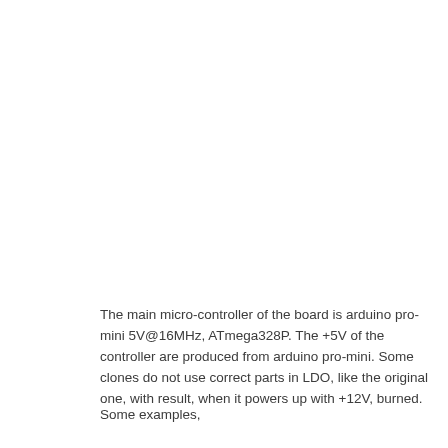The main micro-controller of the board is arduino pro-mini 5V@16MHz, ATmega328P. The +5V of the controller are produced from arduino pro-mini. Some clones do not use correct parts in LDO, like the original one, with result, when it powers up with +12V, burned.
Some examples,